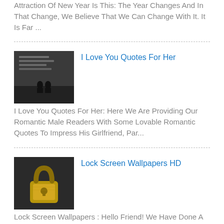Attraction Of New Year Is This: The Year Changes And In That Change, We Believe That We Can Change With It. It Is Far ...
[Figure (photo): Black and white photo with text overlay about love quotes]
I Love You Quotes For Her
I Love You Quotes For Her: Here We Are Providing Our Romantic Male Readers With Some Lovable Romantic Quotes To Impress His Girlfriend, Par...
[Figure (photo): Close-up photo of a golden padlock]
Lock Screen Wallpapers HD
Lock Screen Wallpapers : Hello Friend! We Have Done A Good Research To Provide You The Best & Funny Lock Screen Wallpapers For